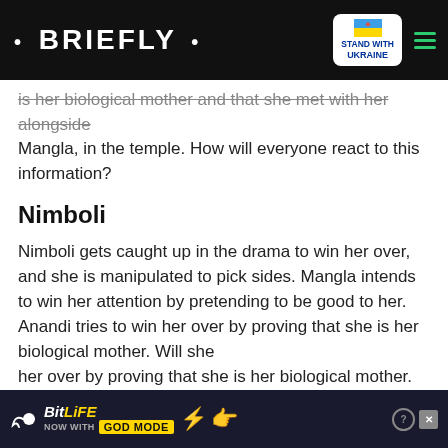• BRIEFLY •
is her biological mother and that she met with her alongside Mangla, in the temple. How will everyone react to this information?
Nimboli
Nimboli gets caught up in the drama to win her over, and she is manipulated to pick sides. Mangla intends to win her attention by pretending to be good to her. Anandi tries to win her over by proving that she is her biological mother. Will she [discover wh]at is being hidden from her?
[Figure (screenshot): Black video player overlay with white circle/loading spinner, red minimize button with down chevron, and X close button]
ve that she has the best
[Figure (screenshot): BitLife ad banner: 'NOW WITH GOD MODE' promotional advertisement with sperm icon, lightning bolt, and hand pointing gesture]